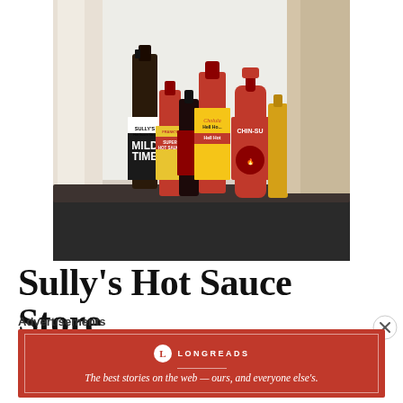[Figure (photo): Several hot sauce bottles lined up on a dark windowsill with natural light in background. Brands visible include Sully's Hot Sauce (MILD TIME label), Franks RedHot Super Hot Sauce, another red bottle, Cholula Hell Hot, and Chin-Su squeeze bottle.]
Sully's Hot Sauce Store SullysHotSauceSto
Advertisements
[Figure (other): Longreads advertisement banner — red background with white border, Longreads logo (L in circle) and text: The best stories on the web — ours, and everyone else's.]